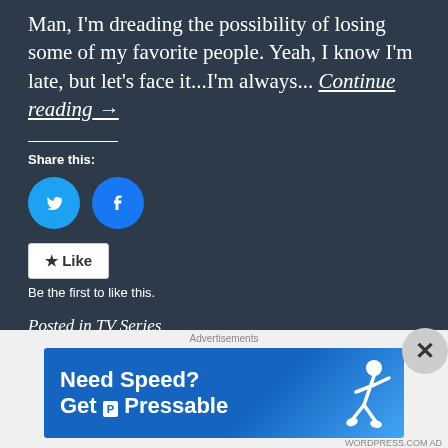Man, I'm dreading the possibility of losing some of my favorite people. Yeah, I know I'm late, but let's face it...I'm always... Continue reading →
Share this:
[Figure (illustration): Twitter and Facebook share buttons (circular blue icons)]
★ Like
Be the first to like this.
Posted in TV Series
Tagged Arya Stark, Game of Thrones, HBO, Maisie Williams, TV Series, Winterfell
[Figure (infographic): Advertisement banner: Need Speed? Get Pressable]